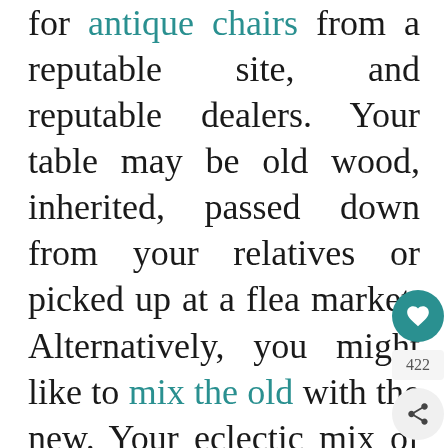for antique chairs from a reputable site, and reputable dealers. Your table may be old wood, inherited, passed down from your relatives or picked up at a flea market. Alternatively, you might like to mix the old with the new. Your eclectic mix of antique chairs could look stunning with a modern, brand new dining table. Purchasing one in a darker or rustic wood will suit the look best, and the more dents and knocks the better.